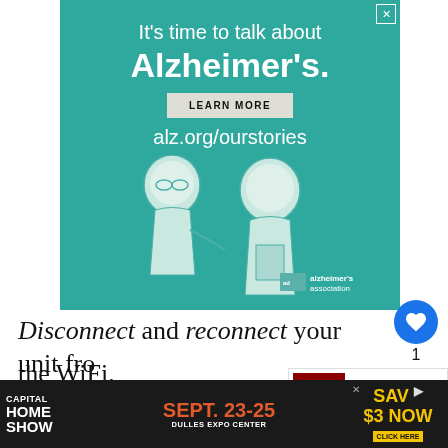[Figure (screenshot): Alzheimer's Association advertisement with teal background showing two illustrated figures (elderly and younger person). Text reads: It's time to talk about Alzheimer's. LEARN MORE. alz.org/ourstories. Alzheimer's Association logo.]
Disconnect and reconnect your unit from the WiFi.
Doing this helps refresh the connection be... york.
[Figure (screenshot): Capital Home Show advertisement: SEPT. 23-25, DULLES EXPO CENTER, SAV $3 NOW, CLICK HERE]
[Figure (infographic): What's Next panel showing 11 Steps To Connect LG...]